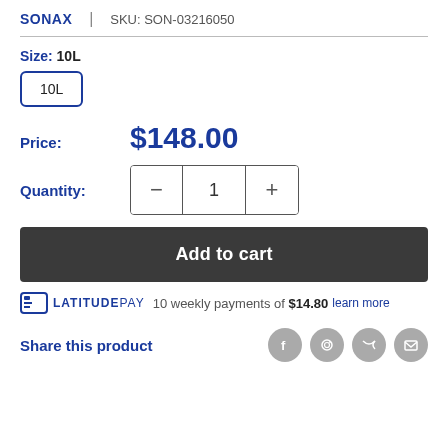SONAX | SKU: SON-03216050
Size: 10L
10L (size button)
Price: $148.00
Quantity: 1
Add to cart
LATITUDE PAY 10 weekly payments of $14.80 learn more
Share this product